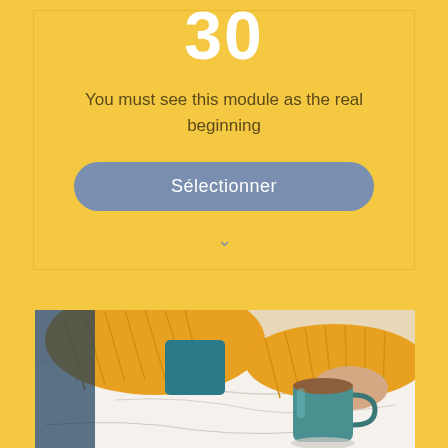30
You must see this module as the real beginning
Sélectionner
[Figure (photo): Person wearing a mustard/yellow knit sweater, holding a teal/green ceramic coffee mug on a white marble table, with a beige background.]